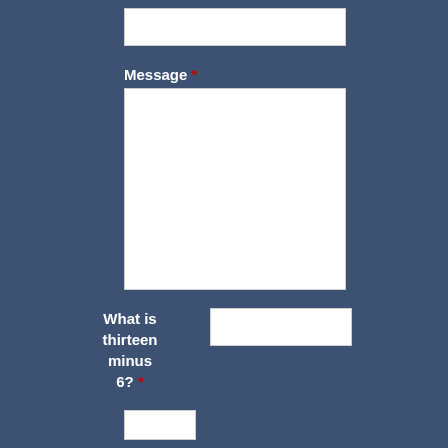[Figure (screenshot): White input field at top of form]
Message *
[Figure (screenshot): Large white textarea input field for message]
What is thirteen minus 6? *
[Figure (screenshot): White input field for captcha answer]
[Figure (screenshot): White submit button at bottom of form]